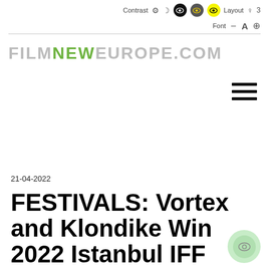Contrast [gear] [moon] [eye-black] [eye-half] [eye-yellow] Layout [search] 3 | Font [-] A [+]
[Figure (logo): FILMNEWEUROPE.COM logo with FILM and EUROPE in grey, NEW in green]
[Figure (other): Hamburger menu icon (three horizontal bars)]
21-04-2022
FESTIVALS: Vortex and Klondike Win 2022 Istanbul IFF